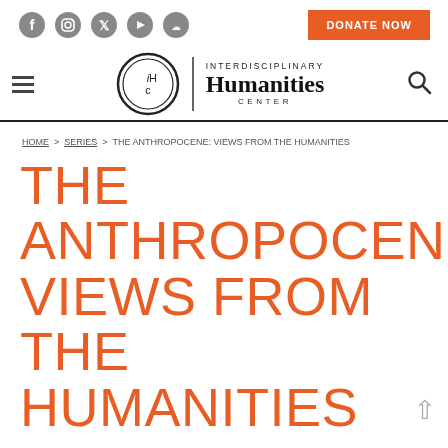Social icons: Facebook, Instagram, Twitter, YouTube, SoundCloud; DONATE NOW button
[Figure (logo): Interdisciplinary Humanities Center (IHC) logo with circular badge and text]
HOME > SERIES > THE ANTHROPOCENE: VIEWS FROM THE HUMANITIES
THE ANTHROPOCENE: VIEWS FROM THE HUMANITIES